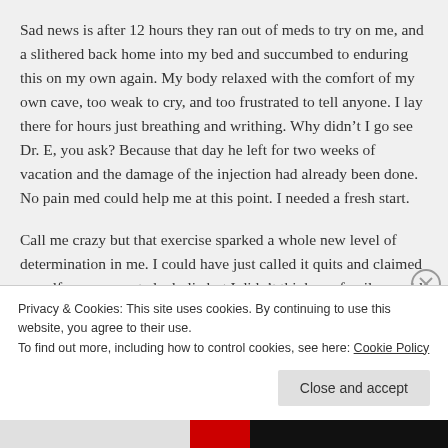Sad news is after 12 hours they ran out of meds to try on me, and a slithered back home into my bed and succumbed to enduring this on my own again. My body relaxed with the comfort of my own cave, too weak to cry, and too frustrated to tell anyone. I lay there for hours just breathing and writhing. Why didn't I go see Dr. E, you ask? Because that day he left for two weeks of vacation and the damage of the injection had already been done. No pain med could help me at this point. I needed a fresh start.
Call me crazy but that exercise sparked a whole new level of determination in me. I could have just called it quits and claimed myself a permanent alcoholic but I didn't think my family would
Privacy & Cookies: This site uses cookies. By continuing to use this website, you agree to their use.
To find out more, including how to control cookies, see here: Cookie Policy
Close and accept